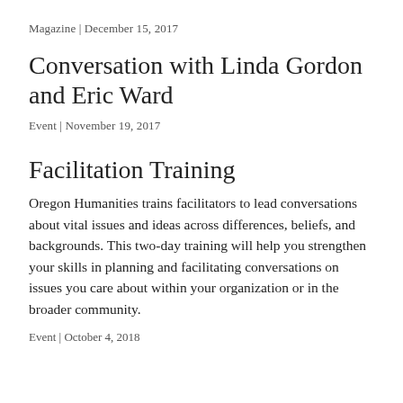Magazine | December 15, 2017
Conversation with Linda Gordon and Eric Ward
Event | November 19, 2017
Facilitation Training
Oregon Humanities trains facilitators to lead conversations about vital issues and ideas across differences, beliefs, and backgrounds. This two-day training will help you strengthen your skills in planning and facilitating conversations on issues you care about within your organization or in the broader community.
Event | October 4, 2018